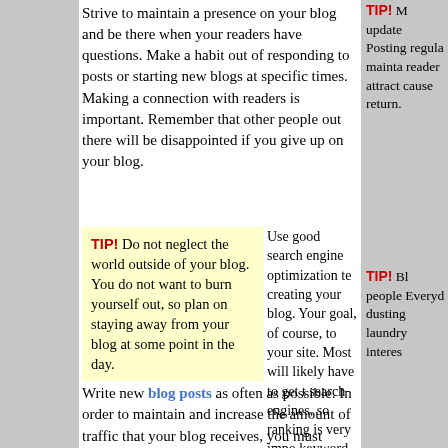Strive to maintain a presence on your blog and be there when your readers have questions. Make a habit out of responding to posts or starting new blogs at specific times. Making a connection with readers is important. Remember that other people out there will be disappointed if you give up on your blog.
TIP! Do not neglect the world outside of your blog. You do not want to burn yourself out, so plan on staying away from your blog at some point in the day.
Use good search engine optimization te creating your blog. Your goal, of course, to your site. Most will likely have to get t search engines, so ranking is very impo keyword choices and utilization is essen site traffic.
Write new blog posts as often as possible. In order to maintain and increase the amount of traffic that your blog receives, you must constantly provide new content. Without a relatively steady supply of interesting, relevant content, readers will have few reasons to come back. A regular, daily blog post is a good goal to give yourself.
TIP! M update Posting regula mainta reader attract cause return.
TIP! Bl people Everyd dusting laundry interes
TIP! Try to be authentic. It's important not to come off like you think you know everything.
Use lists in your blog posts. Whether yo about romance novels; the ingredients n recipe; or how to repair a refrigerator; a